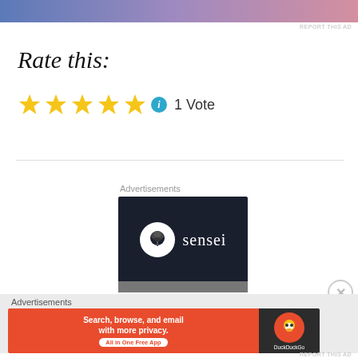[Figure (other): Top advertisement banner with blue-to-pink gradient]
REPORT THIS AD
Rate this:
[Figure (other): Five yellow star rating icons followed by a blue info circle icon and '1 Vote' text]
1 Vote
Advertisements
[Figure (logo): Sensei advertisement - dark background with white circle containing bonsai tree icon and 'sensei' text]
Advertisements
[Figure (other): DuckDuckGo advertisement - orange background with text 'Search, browse, and email with more privacy. All in One Free App' and DuckDuckGo logo on dark background]
REPORT THIS AD